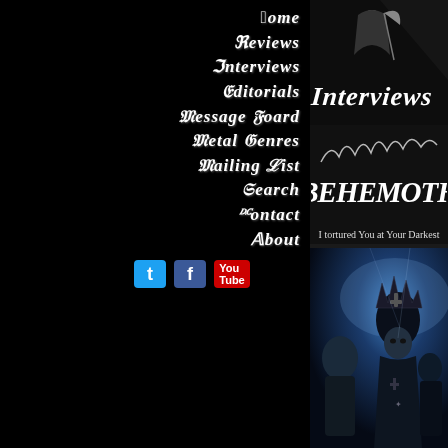Home
Reviews
Interviews
Editorials
Message Board
Metal Genres
Mailing List
Search
Contact
About
[Figure (logo): Interviews header banner with grim reaper figure and stylized 'Interviews' text in gothic font on dark background]
[Figure (logo): Behemoth band logo in white gothic/blackletter font on dark background]
I tortured You at Your Darkest
[Figure (photo): Band members of Behemoth in dark atmospheric blue-lit photo, frontman wearing ornate black papal/occult headgear with cross emblem, elaborate costume with cross patterns, dark moody theatrical staging]